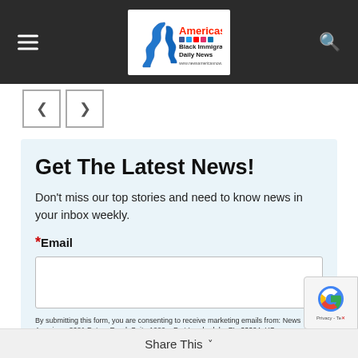[Figure (logo): News Americas Black Immigrant Daily News logo with map of Americas]
Get The Latest News!
Don't miss our top stories and need to know news in your inbox weekly.
*Email
By submitting this form, you are consenting to receive marketing emails from: News Americas, 8201 Peters Road, Suite 1000, , Fort Lauderdale, FL, 33324, US, https://www.newsamericasnow.com/. You can revoke your consent to receive emails at any time by using the SafeUnsubscribe® link, found at the bottom of every email. Emails are serviced by Constant Contact.
Share This